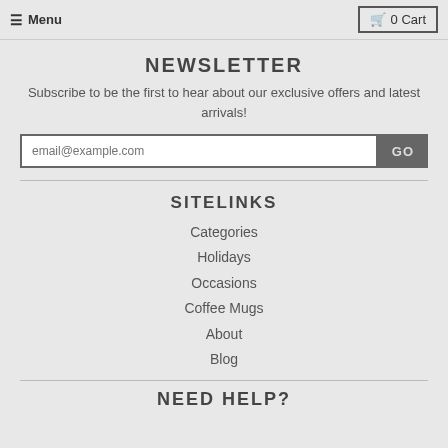Menu | 0 Cart
NEWSLETTER
Subscribe to be the first to hear about our exclusive offers and latest arrivals!
email@example.com  GO
SITELINKS
Categories
Holidays
Occasions
Coffee Mugs
About
Blog
NEED HELP?